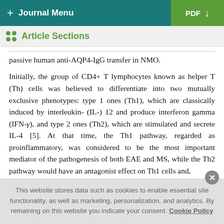+ Journal Menu | PDF ↓
Article Sections
passive human anti-AQP4-IgG transfer in NMO.
Initially, the group of CD4+ T lymphocytes known as helper T (Th) cells was believed to differentiate into two mutually exclusive phenotypes: type 1 ones (Th1), which are classically induced by interleukin- (IL-) 12 and produce interferon gamma (IFN-γ), and type 2 ones (Th2), which are stimulated and secrete IL-4 [5]. At that time, the Th1 pathway, regarded as proinflammatory, was considered to be the most important mediator of the pathogenesis of both EAE and MS, while the Th2 pathway would have an antagonist effect on Th1 cells and,
This website stores data such as cookies to enable essential site functionality, as well as marketing, personalization, and analytics. By remaining on this website you indicate your consent. Cookie Policy